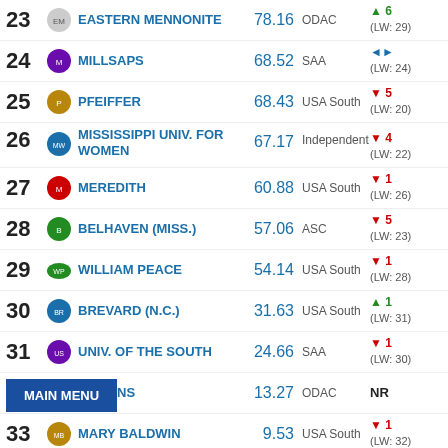23 EASTERN MENNONITE 78.16 ODAC ▲6 (LW: 29)
24 MILLSAPS 68.52 SAA ◄► (LW: 24)
25 PFEIFFER 68.43 USA South ▼5 (LW: 20)
26 MISSISSIPPI UNIV. FOR WOMEN 67.17 Independent ▼4 (LW: 22)
27 MEREDITH 60.88 USA South ▼1 (LW: 26)
28 BELHAVEN (MISS.) 57.06 ASC ▼5 (LW: 23)
29 WILLIAM PEACE 54.14 USA South ▼1 (LW: 28)
30 BREVARD (N.C.) 31.63 USA South ▲1 (LW: 31)
31 UNIV. OF THE SOUTH 24.66 SAA ▼1 (LW: 30)
32 HOLLINS 13.27 ODAC NR
33 MARY BALDWIN 9.53 USA South ▼1 (LW: 32)
34 [partial] 6.57 ODAC ◄► (LW: 34)
35 [partial] ▼2